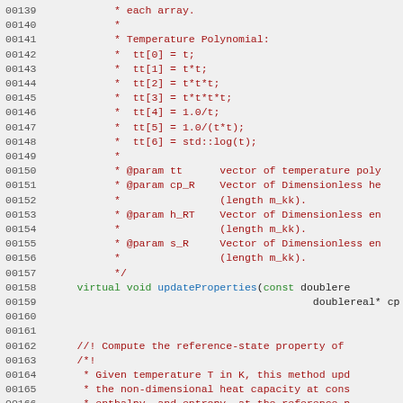[Figure (screenshot): Source code listing lines 00139–00168 showing C++ documentation comments and a virtual function declaration for updateProperties, with temperature polynomial assignments and @param documentation.]